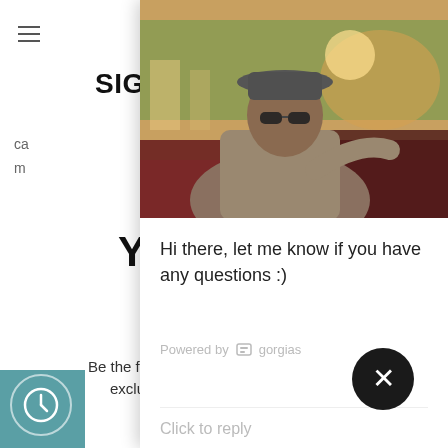[Figure (screenshot): A webpage screenshot showing a sign-up modal overlay for 15% off discount, with an email input field and subscribe button. Background text is partially visible. A chat widget popup from Gorgias is overlaid on the right side showing a man in a car photo and the message 'Hi there, let me know if you have any questions :)'. A dark circular close button with an X is visible at the bottom right.]
SIGN
15
YOUR
Be the first to exclusive s
Hi there, let me know if you have any questions :)
Powered by gorgias
Click to reply
*15% off code will be sent to email address submitted above. Some exclusions apply.